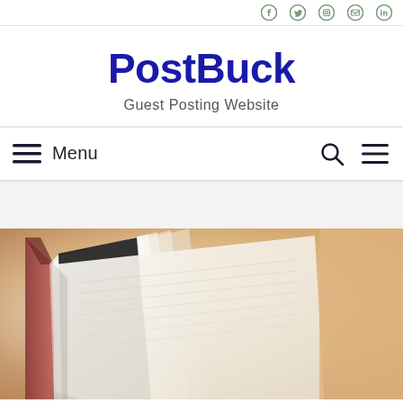Social icons bar
PostBuck
Guest Posting Website
Menu navigation bar with search icon
[Figure (photo): Close-up photo of an open book with pages fanning out, warm blurred background in beige and peach tones]